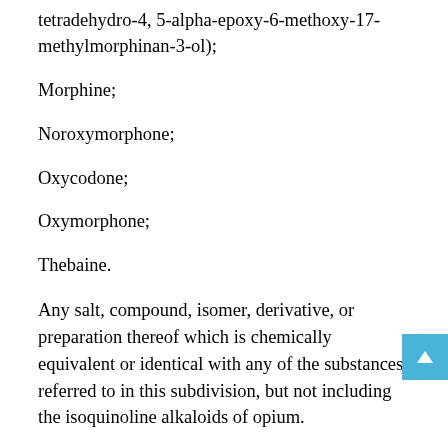tetradehydro-4, 5-alpha-epoxy-6-methoxy-17-methylmorphinan-3-ol);
Morphine;
Noroxymorphone;
Oxycodone;
Oxymorphone;
Thebaine.
Any salt, compound, isomer, derivative, or preparation thereof which is chemically equivalent or identical with any of the substances referred to in this subdivision, but not including the isoquinoline alkaloids of opium.
Opium poppy and poppy straw.
Coca leaves and any salt, compound, derivative, or preparation of coca leaves, and any salt, compound, derivative, or preparation thereof which is chemically